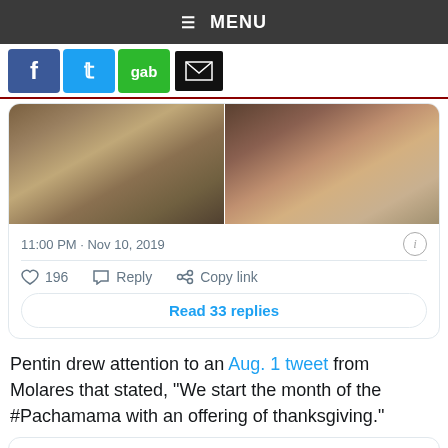≡ MENU
[Figure (screenshot): Social media share buttons: Facebook (blue), Twitter (blue), Gab (green), Email (black with envelope icon)]
[Figure (photo): Two side-by-side photos: left shows a crowd at an outdoor ceremony with fire/smoke; right shows people in dark clothing outdoors in sunlight]
11:00 PM · Nov 10, 2019
196   Reply   Copy link
Read 33 replies
Pentin drew attention to an Aug. 1 tweet from Molares that stated, "We start the month of the #Pachamama with an offering of thanksgiving."
Evo Morales Ayma ✓ @evoespueblo · Follow
Donate